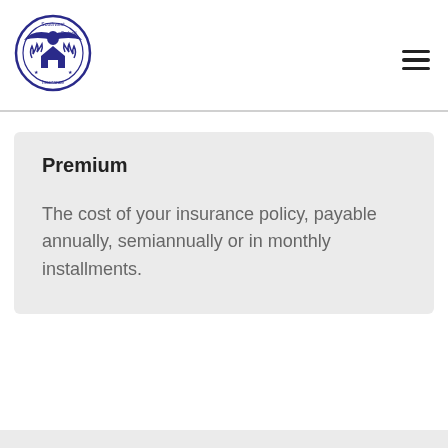[Figure (logo): Southwest Federal Insurance circular logo in blue, featuring an eagle and house with text around the border]
Premium
The cost of your insurance policy, payable annually, semiannually or in monthly installments.